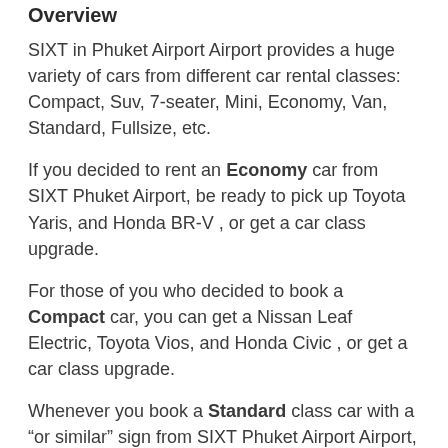Overview
SIXT in Phuket Airport Airport provides a huge variety of cars from different car rental classes: Compact, Suv, 7-seater, Mini, Economy, Van, Standard, Fullsize, etc.
If you decided to rent an Economy car from SIXT Phuket Airport, be ready to pick up Toyota Yaris, and Honda BR-V , or get a car class upgrade.
For those of you who decided to book a Compact car, you can get a Nissan Leaf Electric, Toyota Vios, and Honda Civic , or get a car class upgrade.
Whenever you book a Standard class car with a “or similar” sign from SIXT Phuket Airport Airport, you may pick up Toyota Altis, and Toyota Camry .
SIXT Full-Size car rental class in Phuket Airport Airport includes the following car rental models: and Nissan Teana.